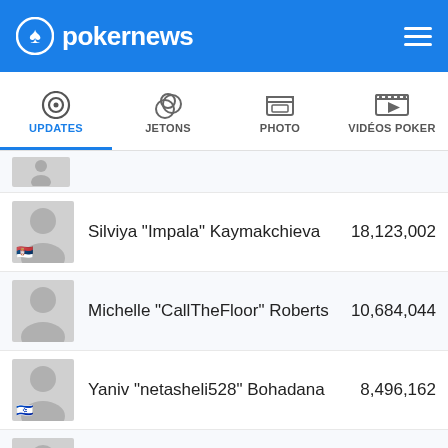pokernews
UPDATES | JETONS | PHOTO | VIDÉOS POKER
| Player | Chips |
| --- | --- |
| Silviya "Impala" Kaymakchieva | 18,123,002 |
| Michelle "CallTheFloor" Roberts | 10,684,044 |
| Yaniv "netasheli528" Bohadana | 8,496,162 |
| Guilherme "Forest trump" Dos Santos | 551,390 |